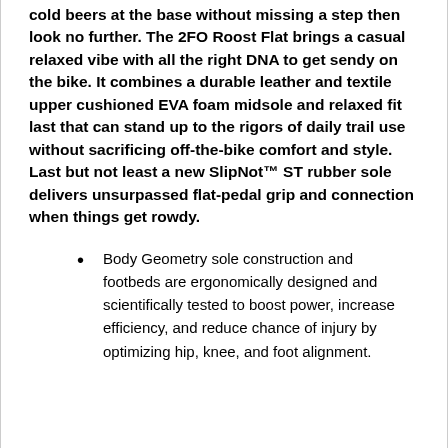cold beers at the base without missing a step then look no further. The 2FO Roost Flat brings a casual relaxed vibe with all the right DNA to get sendy on the bike. It combines a durable leather and textile upper cushioned EVA foam midsole and relaxed fit last that can stand up to the rigors of daily trail use without sacrificing off-the-bike comfort and style. Last but not least a new SlipNot™ ST rubber sole delivers unsurpassed flat-pedal grip and connection when things get rowdy.
Body Geometry sole construction and footbeds are ergonomically designed and scientifically tested to boost power, increase efficiency, and reduce chance of injury by optimizing hip, knee, and foot alignment.